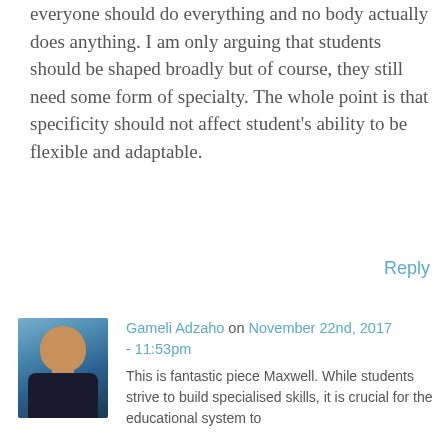everyone should do everything and no body actually does anything. I am only arguing that students should be shaped broadly but of course, they still need some form of specialty. The whole point is that specificity should not affect student's ability to be flexible and adaptable.
Reply
[Figure (photo): Profile photo of Gameli Adzaho, a young Black man in a suit, with a blurred outdoor background]
Gameli Adzaho on November 22nd, 2017 - 11:53pm
This is fantastic piece Maxwell. While students strive to build specialised skills, it is crucial for the educational system to